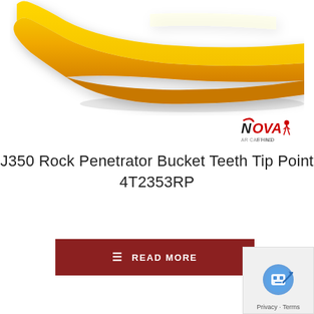[Figure (photo): Yellow J350 Rock Penetrator bucket tooth tip point, photographed from a side-angle showing the pointed tip and wide base, on white background]
[Figure (logo): Nova FHND brand logo in red and black text with icons]
J350 Rock Penetrator Bucket Teeth Tip Point 4T2353RP
READ MORE
[Figure (other): reCAPTCHA privacy badge with robot icon and Privacy - Terms text]